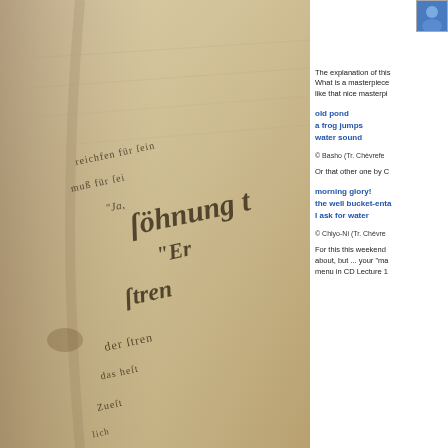[Figure (photo): Close-up photograph of an open antique book with Gothic/Blackletter German text, sepia-toned, shallow depth of field showing words like 'söhnung', 'Ja', 'Er', 'stren']
The explanation of this What is a masterpiece like that nice masterpi
old pond
a frog jumps
water sound
© Basho (Tr. Chèvrefe
Or that other one by C
morning glory!
the well bucket-enta
I ask for water
© Chiyo-Ni (Tr. Chèvre
For this this weekend about, but ... your "ma menu in CD Lecture 1